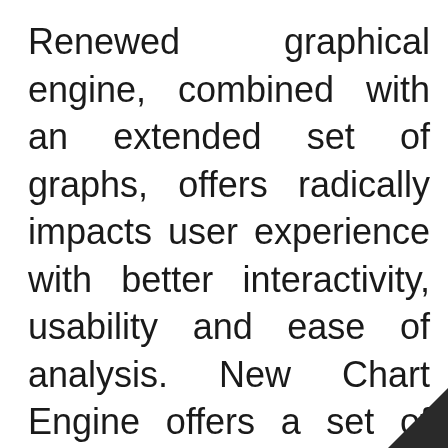Renewed graphical engine, combined with an extended set of graphs, offers radically impacts user experience with better interactivity, usability and ease of analysis. New Chart Engine offers a set of out-of the box functionalities including interactive legends, grouping, mouse-over selection of series, trackballs and smart markers dramatically improve ease of use and customization flexibility. A number of new graphs such as heat-map, tree-